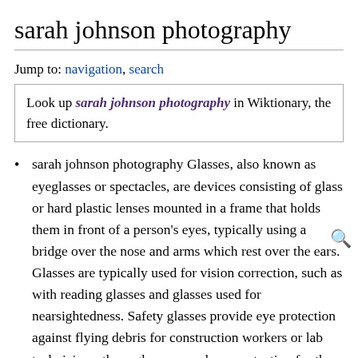sarah johnson photography
Jump to: navigation, search
Look up sarah johnson photography in Wiktionary, the free dictionary.
sarah johnson photography Glasses, also known as eyeglasses or spectacles, are devices consisting of glass or hard plastic lenses mounted in a frame that holds them in front of a person's eyes, typically using a bridge over the nose and arms which rest over the ears. Glasses are typically used for vision correction, such as with reading glasses and glasses used for nearsightedness. Safety glasses provide eye protection against flying debris for construction workers or lab technicians; these glasses may have protection for the sides of the eyes as well as in the lenses. Some types of safety glasses are used to protect against visible and near-visible light or radiation. Glasses are worn for eye protection in some sports, such as squash. Glasses wearers may use a strap to prevent the glasses from falling off during movement or sports. Wearers of glasses that are used only part of the time may have the glasses